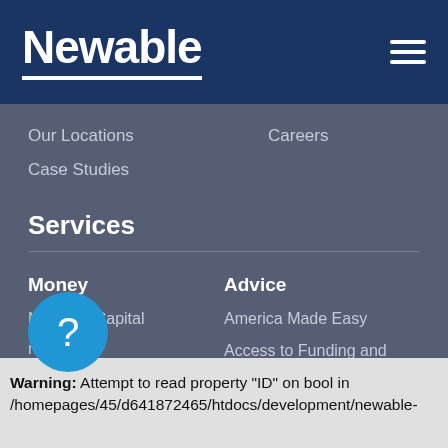Newable
Our Locations
Careers
Case Studies
Services
Money
Advice
Newable Capital
America Made Easy
Finance
Access to Funding and Finance
Finance
Business Modelling
Warning: Attempt to read property "ID" on bool in /homepages/45/d641872465/htdocs/development/newable-